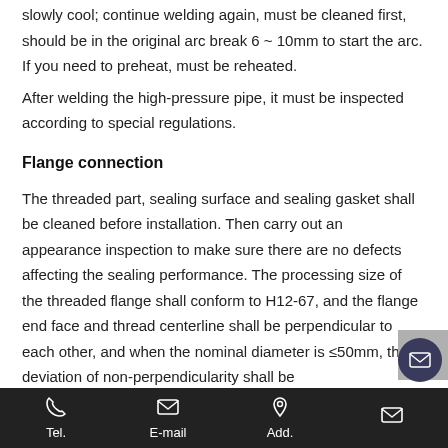slowly cool; continue welding again, must be cleaned first, should be in the original arc break 6 ~ 10mm to start the arc. If you need to preheat, must be reheated.
After welding the high-pressure pipe, it must be inspected according to special regulations.
Flange connection
The threaded part, sealing surface and sealing gasket shall be cleaned before installation. Then carry out an appearance inspection to make sure there are no defects affecting the sealing performance. The processing size of the threaded flange shall conform to H12-67, and the flange end face and thread centerline shall be perpendicular to each other, and when the nominal diameter is ≤50mm, the deviation of non-perpendicularity shall be
Tel.   E-mail   Add.